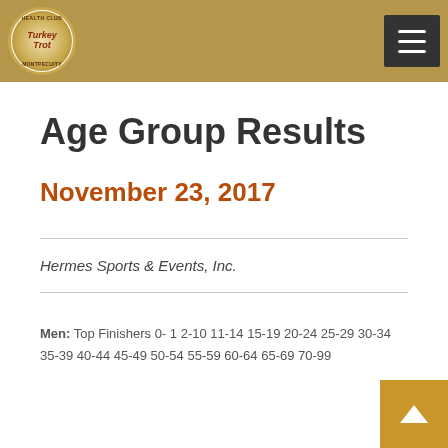Turkey Trot Health Club | Navigation menu
Age Group Results
November 23, 2017
Hermes Sports & Events, Inc.
Men: Top Finishers 0- 1 2-10 11-14 15-19 20-24 25-29 30-34 35-39 40-44 45-49 50-54 55-59 60-64 65-69 70-99